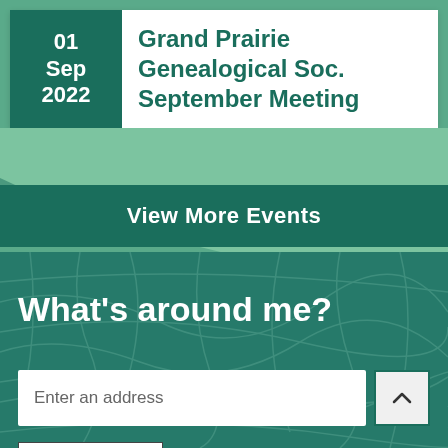Grand Prairie Genealogical Soc. September Meeting
01 Sep 2022
View More Events
What's around me?
Enter an address
Use my location